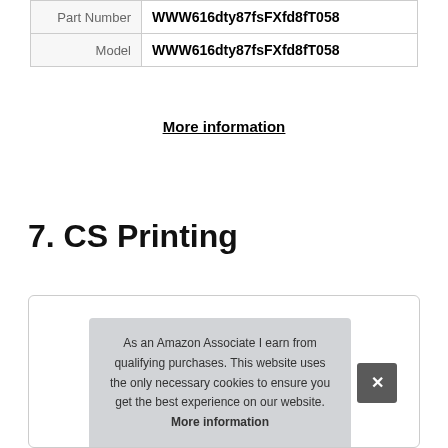|  |  |
| --- | --- |
| Part Number | WWW616dty87fsFXfd8fT058 |
| Model | WWW616dty87fsFXfd8fT058 |
More information
7. CS Printing
[Figure (other): Product card box with rounded border showing product images at the bottom, partially visible]
As an Amazon Associate I earn from qualifying purchases. This website uses the only necessary cookies to ensure you get the best experience on our website. More information